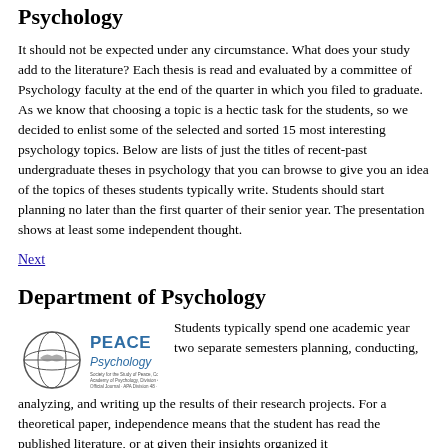Psychology
It should not be expected under any circumstance. What does your study add to the literature? Each thesis is read and evaluated by a committee of Psychology faculty at the end of the quarter in which you filed to graduate. As we know that choosing a topic is a hectic task for the students, so we decided to enlist some of the selected and sorted 15 most interesting psychology topics. Below are lists of just the titles of recent-past undergraduate theses in psychology that you can browse to give you an idea of the topics of theses students typically write. Students should start planning no later than the first quarter of their senior year. The presentation shows at least some independent thought.
Next
Department of Psychology
[Figure (logo): PEACE Psychology logo with globe/handshake icon and organization text]
Students typically spend one academic year two separate semesters planning, conducting, analyzing, and writing up the results of their research projects. For a theoretical paper, independence means that the student has read the published literature, or at given their insights organized it